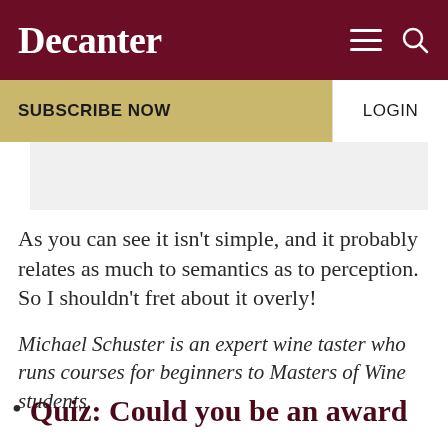Decanter
SUBSCRIBE NOW
LOGIN
As you can see it isn't simple, and it probably relates as much to semantics as to perception. So I shouldn't fret about it overly!
Michael Schuster is an expert wine taster who runs courses for beginners to Masters of Wine students.
Quiz: Could you be an award